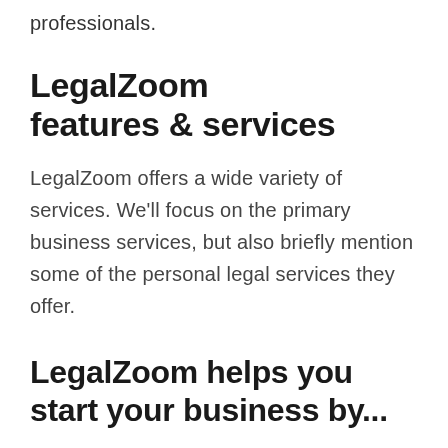professionals.
LegalZoom features & services
LegalZoom offers a wide variety of services. We'll focus on the primary business services, but also briefly mention some of the personal legal services they offer.
LegalZoom helps you start your business by...
Making it simple to form any new business entity, all online